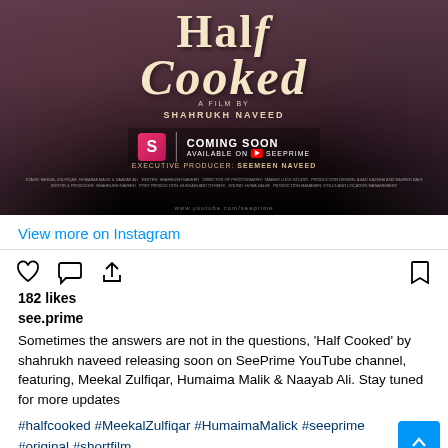[Figure (photo): Movie poster for 'Half Cooked', a film by Shahrukh Naveed, coming soon on SeePrime YouTube channel. Executive producer Seemeen Naveed. Dark background with film credits.]
View more on Instagram
182 likes
see.prime
Sometimes the answers are not in the questions, 'Half Cooked' by shahrukh naveed releasing soon on SeePrime YouTube channel, featuring, Meekal Zulfiqar, Humaima Malik & Naayab Ali. Stay tuned for more updates
#halfcooked #MeekalZulfiqar #HumaimaMalick #seeprime #original #shortfilm